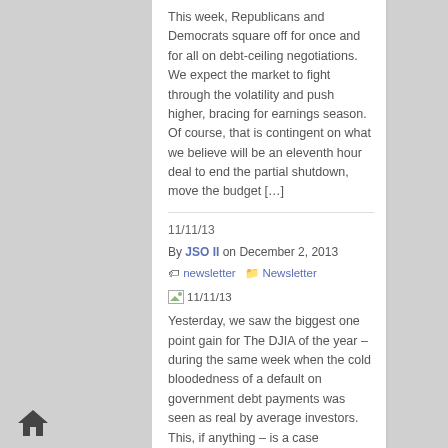This week, Republicans and Democrats square off for once and for all on debt-ceiling negotiations. We expect the market to fight through the volatility and push higher, bracing for earnings season. Of course, that is contingent on what we believe will be an eleventh hour deal to end the partial shutdown, move the budget […]
11/11/13
By JSO II on December 2, 2013
newsletter   Newsletter
[Figure (other): Broken image placeholder labeled 11/11/13]
Yesterday, we saw the biggest one point gain for The DJIA of the year – during the same week when the cold bloodedness of a default on government debt payments was seen as real by average investors. This, if anything – is a case